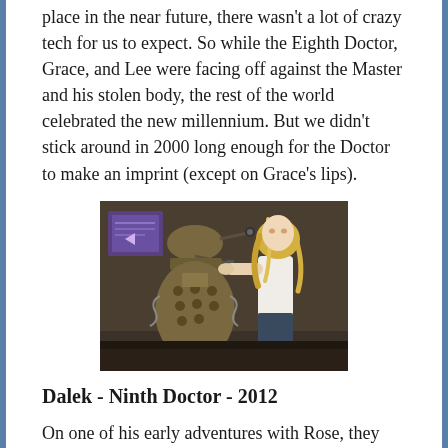place in the near future, there wasn't a lot of crazy tech for us to expect. So while the Eighth Doctor, Grace, and Lee were facing off against the Master and his stolen body, the rest of the world celebrated the new millennium. But we didn't stick around in 2000 long enough for the Doctor to make an imprint (except on Grace's lips).
[Figure (photo): A blonde woman in a white tank top reaches out to touch a Dalek (a robot-like alien creature) in what appears to be an underground bunker setting.]
Dalek - Ninth Doctor - 2012
On one of his early adventures with Rose, they went to the near future where they met a Dalek in an underground bunker in Utah. Like the TV movie, we didn't go far enough into the future for any outrageous guesses at future technology, but we did see a large collection of alien tech. While this episode